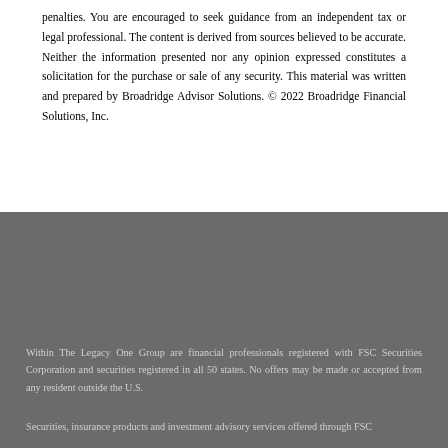penalties. You are encouraged to seek guidance from an independent tax or legal professional. The content is derived from sources believed to be accurate. Neither the information presented nor any opinion expressed constitutes a solicitation for the purchase or sale of any security. This material was written and prepared by Broadridge Advisor Solutions. © 2022 Broadridge Financial Solutions, Inc.
Within The Legacy One Group are financial professionals registered with FSC Securities Corporation and securities registered in all 50 states. No offers may be made or accepted from any resident outside the U.S.
Securities, insurance products and investment advisory services offered through FSC